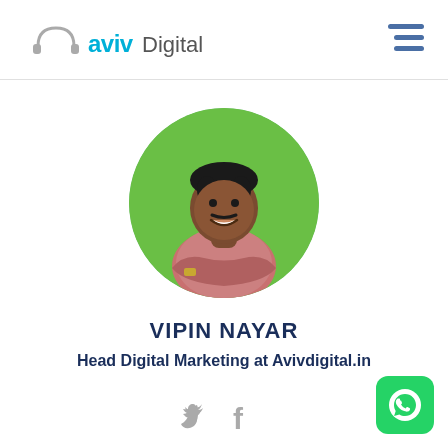[Figure (logo): Aviv Digital logo with headphone arc icon and teal/gray text]
[Figure (other): Hamburger menu icon (three horizontal lines) in blue-gray]
[Figure (photo): Circular profile photo of Vipin Nayar, a man with mustache wearing plaid shirt with arms crossed, green background]
VIPIN NAYAR
Head Digital Marketing at Avivdigital.in
[Figure (other): Twitter bird icon and Facebook f icon in gray]
[Figure (other): WhatsApp green rounded square button with phone icon]